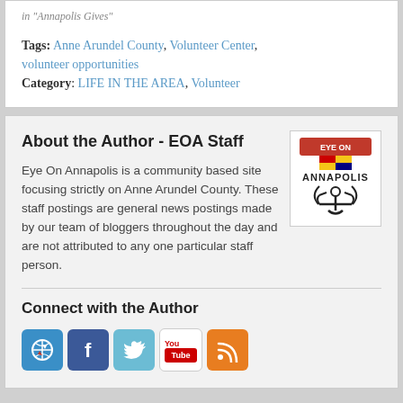in "Annapolis Gives"
Tags: Anne Arundel County, Volunteer Center, volunteer opportunities
Category: LIFE IN THE AREA, Volunteer
About the Author - EOA Staff
Eye On Annapolis is a community based site focusing strictly on Anne Arundel County. These staff postings are general news postings made by our team of bloggers throughout the day and are not attributed to any one particular staff person.
[Figure (logo): Eye On Annapolis logo with anchor and Maryland flag]
Connect with the Author
[Figure (infographic): Social media icons: compass/website, Facebook, Twitter, YouTube, RSS feed]